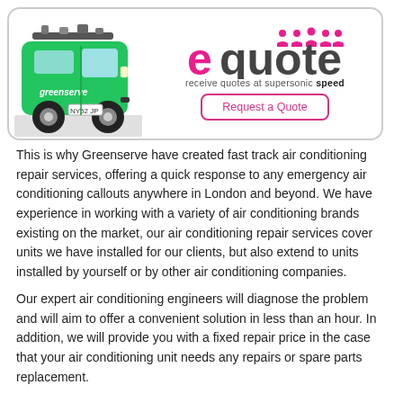[Figure (logo): Greenserve branded green van with equipment on roof, and equote logo with tagline 'receive quotes at supersonic speed' and a 'Request a Quote' button]
This is why Greenserve have created fast track air conditioning repair services, offering a quick response to any emergency air conditioning callouts anywhere in London and beyond. We have experience in working with a variety of air conditioning brands existing on the market, our air conditioning repair services cover units we have installed for our clients, but also extend to units installed by yourself or by other air conditioning companies.
Our expert air conditioning engineers will diagnose the problem and will aim to offer a convenient solution in less than an hour. In addition, we will provide you with a fixed repair price in the case that your air conditioning unit needs any repairs or spare parts replacement.